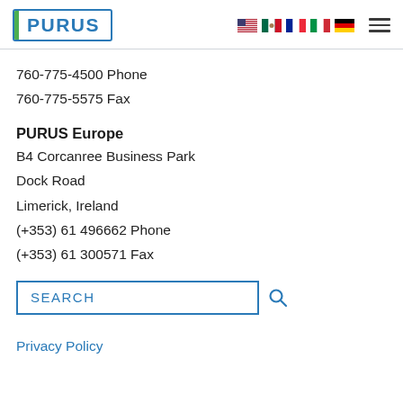PURUS (logo with flags and hamburger menu)
760-775-4500 Phone
760-775-5575 Fax
PURUS Europe
B4 Corcanree Business Park
Dock Road
Limerick, Ireland
(+353) 61 496662 Phone
(+353) 61 300571 Fax
SEARCH
Privacy Policy